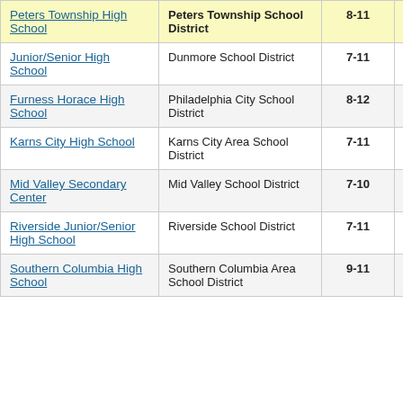| School | District | Grades | Score |  |
| --- | --- | --- | --- | --- |
| Peters Township High School | Peters Township School District | 8-11 | 4.8 |  |
| Junior/Senior High School | Dunmore School District | 7-11 | -8.1 |  |
| Furness Horace High School | Philadelphia City School District | 8-12 | 4.7 |  |
| Karns City High School | Karns City Area School District | 7-11 | -6.3 |  |
| Mid Valley Secondary Center | Mid Valley School District | 7-10 | -2.0 |  |
| Riverside Junior/Senior High School | Riverside School District | 7-11 | -3.6 |  |
| Southern Columbia High School | Southern Columbia Area School District | 9-11 | -15.0 |  |